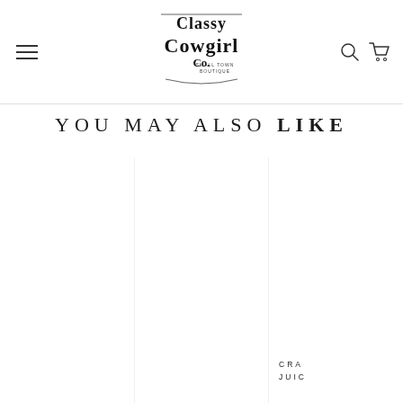Classy Cowgirl Co. Small Town Boutique
YOU MAY ALSO LIKE
CRA... JUIC...